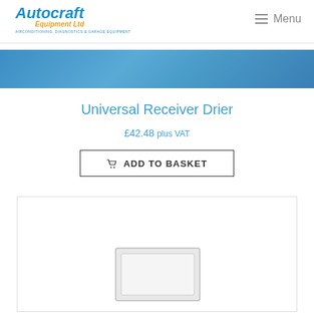[Figure (logo): Autocraft Equipment Ltd logo with blue italic text and orange subtitle, tagline: AIRCONDITIONING, DIAGNOSTICS & GARAGE EQUIPMENT]
Menu
[Figure (illustration): Blue gradient banner bar]
Universal Receiver Drier
£42.48 plus VAT
ADD TO BASKET
[Figure (photo): Product image of Universal Receiver Drier, white background with partial view of silver rectangular device at bottom]